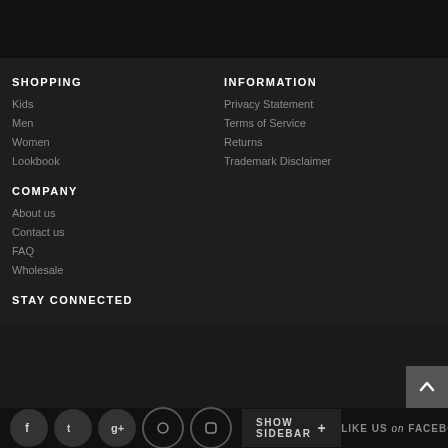SHOPPING
Kids
Men
Women
Lookbook
INFORMATION
Privacy Statement
Terms of Service
Returns
Trademark Disclaimer
COMPANY
About us
Contact us
FAQ
Wholesale
STAY CONNECTED
SHOW SIDEBAR + LIKE US on FACEBOOK